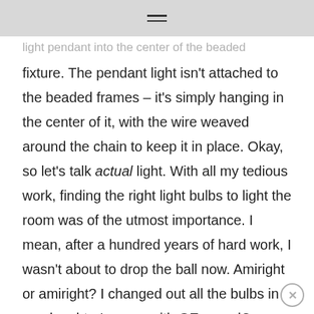≡
light pendant into the center of the beaded fixture. The pendant light isn't attached to the beaded frames – it's simply hanging in the center of it, with the wire weaved around the chain to keep it in place. Okay, so let's talk actual light. With all my tedious work, finding the right light bulbs to light the room was of the utmost importance. I mean, after a hundred years of hard work, I wasn't about to drop the ball now. Amiright or amiright? I changed out all the bulbs in my daughter's room with GE reveal® light bulbs, as well as popped one into her new DIY beaded light fixture.